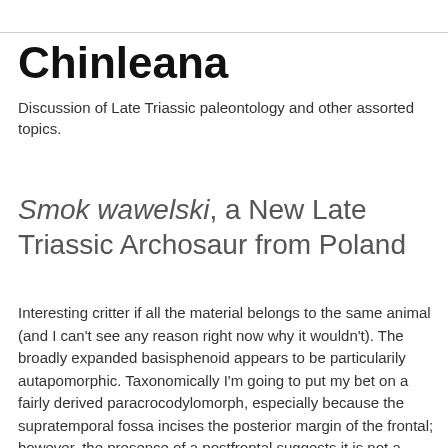Chinleana
Discussion of Late Triassic paleontology and other assorted topics.
Smok wawelski, a New Late Triassic Archosaur from Poland
Interesting critter if all the material belongs to the same animal (and I can't see any reason right now why it wouldn't). The broadly expanded basisphenoid appears to be particularily autapomorphic. Taxonomically I'm going to put my bet on a fairly derived paracrocodylomorph, especially because the supratemporal fossa incises the posterior margin of the frontal; however, the presence of a postfrontal suggests it is not a crocodylomorph. I'll refrain from plugging this taxon into the Nesbitt (2011) matrix as the authors clearly state that the phylogenetic relationships are part of